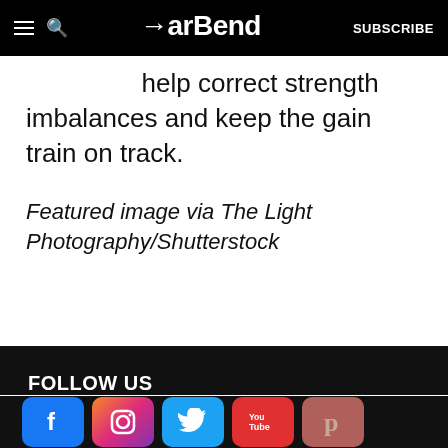BarBend — SUBSCRIBE
help correct strength imbalances and keep the gain train on track.
Featured image via The Light Photography/Shutterstock
FOLLOW US
[Figure (logo): Social media icons: Facebook, Instagram, Twitter, YouTube, Pinterest]